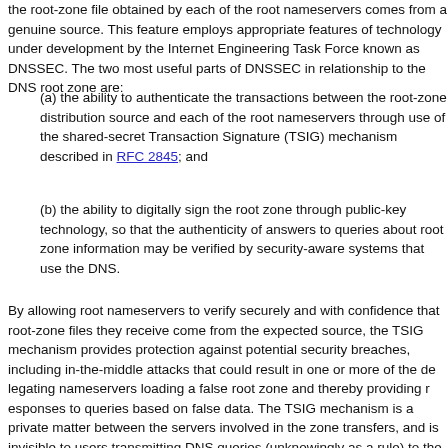the root-zone file obtained by each of the root nameservers comes from a genuine source. This feature employs appropriate features of technology under development by the Internet Engineering Task Force known as DNSSEC. The two most useful parts of DNSSEC in relationship to the DNS root zone are:
(a) the ability to authenticate the transactions between the root-zone distribution source and each of the root nameservers through use of the shared-secret Transaction Signature (TSIG) mechanism described in RFC 2845; and
(b) the ability to digitally sign the root zone through public-key technology, so that the authenticity of answers to queries about root zone information may be verified by security-aware systems that use the DNS.
By allowing root nameservers to verify securely and with confidence that root-zone files they receive come from the expected source, the TSIG mechanism provides protection against potential security breaches, including in-the-middle attacks that could result in one or more of the delegating nameservers loading a false root zone and thereby providing responses to queries based on false data. The TSIG mechanism is a private matter between the servers involved in the zone transfers, and is invisible to users transmitting DNS queries (unknowingly as a rule) to the DNS. TSIG is described in RFC 2845 and provides very significant protection against these types of exploits.